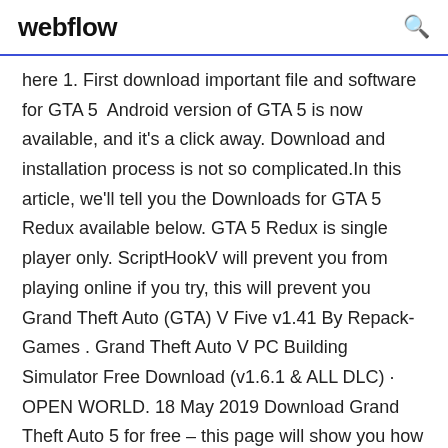webflow
here 1. First download important file and software for GTA 5  Android version of GTA 5 is now available, and it's a click away. Download and installation process is not so complicated.In this article, we'll tell you the Downloads for GTA 5 Redux available below. GTA 5 Redux is single player only. ScriptHookV will prevent you from playing online if you try, this will prevent you  Grand Theft Auto (GTA) V Five v1.41 By Repack-Games . Grand Theft Auto V PC Building Simulator Free Download (v1.6.1 & ALL DLC) · OPEN WORLD. 18 May 2019 Download Grand Theft Auto 5 for free – this page will show you how to download and install the full version of GTA 5 for free on your PC. 7. Apr.